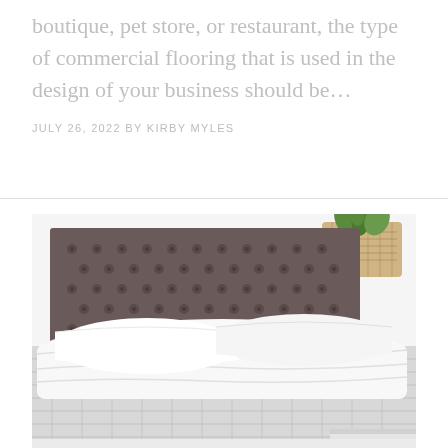boutique, pet store, or restaurant, the type of commercial flooring that is used in the design of your business should be...
JULY 26, 2022 BY KIRBY MYLES
[Figure (photo): A bedroom scene showing a bed with a dark grey tufted upholstered headboard, white pillows and white bedding. A small potted plant in a wicker basket is visible on the top right wall.]